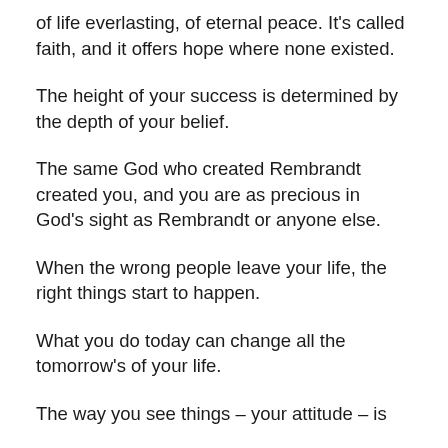of life everlasting, of eternal peace. It’s called faith, and it offers hope where none existed.
The height of your success is determined by the depth of your belief.
The same God who created Rembrandt created you, and you are as precious in God’s sight as Rembrandt or anyone else.
When the wrong people leave your life, the right things start to happen.
What you do today can change all the tomorrow’s of your life.
The way you see things – your attitude – is